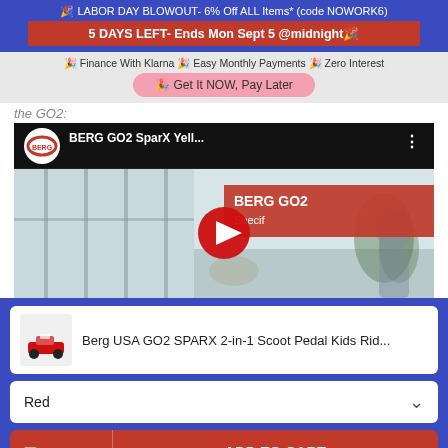🎉 LABOR DAY BLOWOUT- 6% Off ALL Items* (code NOWORK6)
5 DAYS LEFT- Ends Mon Sept 5 @midnight🎉
🎉 Finance With Klarna 🎉 Easy Monthly Payments 🎉 Zero Interest
🎉 Get It NOW, Pay Later
the GO2:
[Figure (screenshot): YouTube video thumbnail for BERG GO2 SparX Yellow product video, showing BERG logo, video title 'BERG GO2 SparX Yell...' with red overlay text 'BERG GO2 Specif' and a YouTube play button over a room interior scene with a child.]
Berg USA GO2 SPARX 2-in-1 Scoot Pedal Kids Rid...
Red
Message   ADD TO CART
9/1/2022